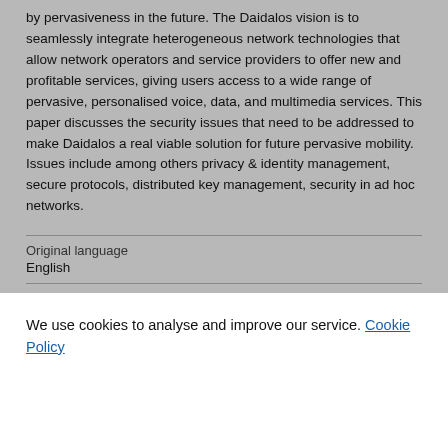by pervasiveness in the future. The Daidalos vision is to seamlessly integrate heterogeneous network technologies that allow network operators and service providers to offer new and profitable services, giving users access to a wide range of pervasive, personalised voice, data, and multimedia services. This paper discusses the security issues that need to be addressed to make Daidalos a real viable solution for future pervasive mobility. Issues include among others privacy & identity management, secure protocols, distributed key management, security in ad hoc networks.
| Original language |  |
| English |  |
| Title of host publication |  |
| eChallenges 2005 proceedings |  |
We use cookies to analyse and improve our service. Cookie Policy